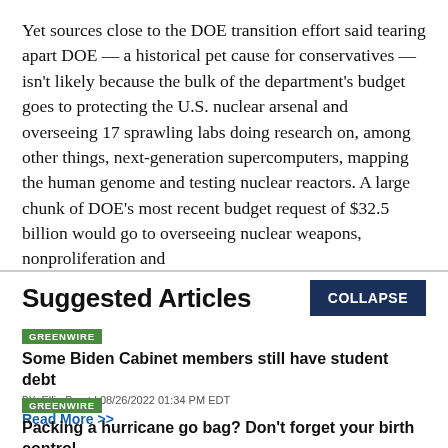Yet sources close to the DOE transition effort said tearing apart DOE — a historical pet cause for conservatives — isn't likely because the bulk of the department's budget goes to protecting the U.S. nuclear arsenal and overseeing 17 sprawling labs doing research on, among other things, next-generation supercomputers, mapping the human genome and testing nuclear reactors. A large chunk of DOE's most recent budget request of $32.5 billion would go to overseeing nuclear weapons, nonproliferation and
Suggested Articles
GREENWIRE
Some Biden Cabinet members still have student debt
BY Ellie Borst | 08/26/2022 01:34 PM EDT
Read More >>
GREENWIRE
Packing a hurricane go bag? Don't forget your birth control.